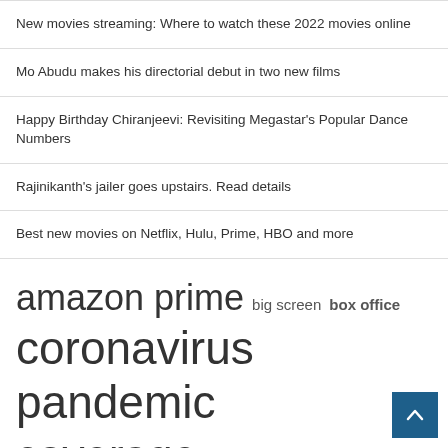New movies streaming: Where to watch these 2022 movies online
Mo Abudu makes his directorial debut in two new films
Happy Birthday Chiranjeevi: Revisiting Megastar's Popular Dance Numbers
Rajinikanth's jailer goes upstairs. Read details
Best new movies on Netflix, Hulu, Prime, HBO and more
amazon prime  big screen  box office  coronavirus pandemic  coverage coronavirus  feature film  film stars  full coverage  hbo max  hit theaters  indiatoday full  prime video  sci fi